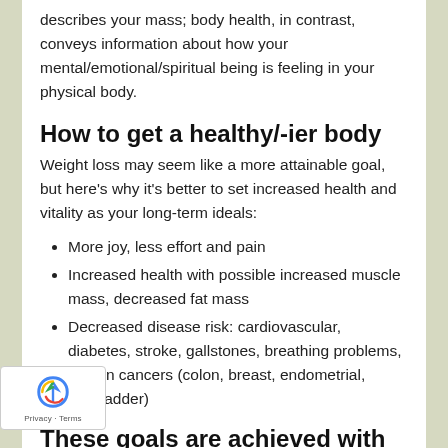describes your mass; body health, in contrast, conveys information about how your mental/emotional/spiritual being is feeling in your physical body.
How to get a healthy/-ier body
Weight loss may seem like a more attainable goal, but here's why it's better to set increased health and vitality as your long-term ideals:
More joy, less effort and pain
Increased health with possible increased muscle mass, decreased fat mass
Decreased disease risk: cardiovascular, diabetes, stroke, gallstones, breathing problems, certain cancers (colon, breast, endometrial, gallbladder)
These goals are achieved with